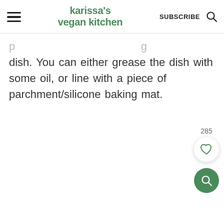karissa's vegan kitchen | SUBSCRIBE
dish. You can either grease the dish with some oil, or line with a piece of parchment/silicone baking mat.